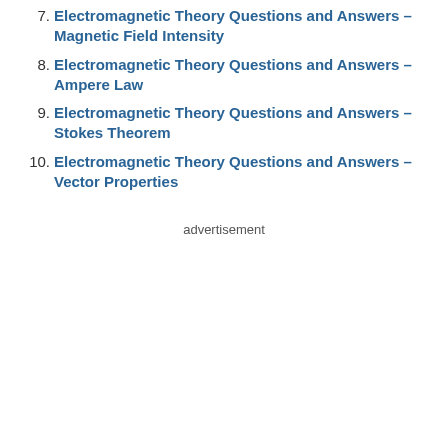7. Electromagnetic Theory Questions and Answers – Magnetic Field Intensity
8. Electromagnetic Theory Questions and Answers – Ampere Law
9. Electromagnetic Theory Questions and Answers – Stokes Theorem
10. Electromagnetic Theory Questions and Answers – Vector Properties
advertisement
[Figure (screenshot): Video thumbnail showing 'Java Tricky Pro...' with a play button overlay and code editor content visible in the background. A close (X) button appears above the video.]